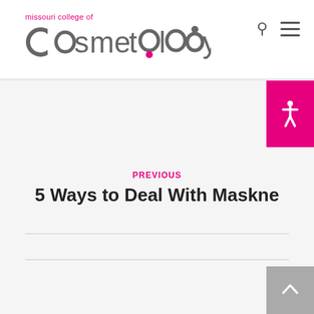[Figure (logo): Missouri College of Cosmetology logo — pink 'missouri college of' text above large grey 'cosmetology' wordmark with circular and dot letterforms]
PREVIOUS
5 Ways to Deal With Maskne
NEXT
Foods That Will Make Your Skin Glow
SEARCH